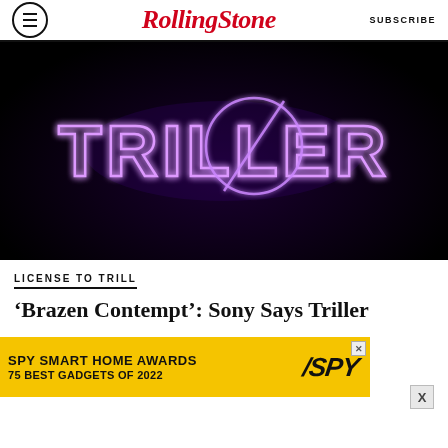Rolling Stone  SUBSCRIBE
[Figure (photo): Triller neon sign logo glowing in purple on black background with circle-slash design]
LICENSE TO TRILL
'Brazen Contempt': Sony Says Triller
[Figure (other): Advertisement: SPY Smart Home Awards - 75 Best Gadgets of 2022]